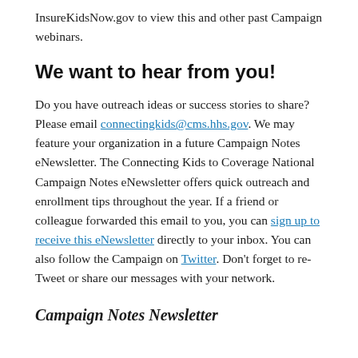InsureKidsNow.gov to view this and other past Campaign webinars.
We want to hear from you!
Do you have outreach ideas or success stories to share? Please email connectingkids@cms.hhs.gov. We may feature your organization in a future Campaign Notes eNewsletter. The Connecting Kids to Coverage National Campaign Notes eNewsletter offers quick outreach and enrollment tips throughout the year. If a friend or colleague forwarded this email to you, you can sign up to receive this eNewsletter directly to your inbox. You can also follow the Campaign on Twitter. Don't forget to re-Tweet or share our messages with your network.
Campaign Notes Newsletter